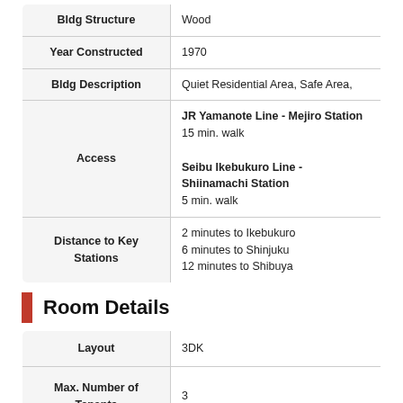| Field | Value |
| --- | --- |
| Bldg Structure | Wood |
| Year Constructed | 1970 |
| Bldg Description | Quiet Residential Area, Safe Area, |
| Access | JR Yamanote Line - Mejiro Station
15 min. walk

Seibu Ikebukuro Line - Shiinamachi Station
5 min. walk |
| Distance to Key Stations | 2 minutes to Ikebukuro
6 minutes to Shinjuku
12 minutes to Shibuya |
Room Details
| Field | Value |
| --- | --- |
| Layout | 3DK |
| Max. Number of Tenants | 3 |
| Guarantor | Not Required |